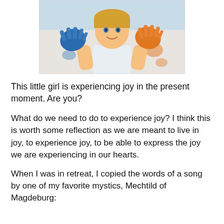[Figure (photo): A smiling young girl with blue paint on her left hand and orange paint on her right hand, held up toward the camera. Colorful handprints visible in the background.]
This little girl is experiencing joy in the present moment. Are you?
What do we need to do to experience joy? I think this is worth some reflection as we are meant to live in joy, to experience joy, to be able to express the joy we are experiencing in our hearts.
When I was in retreat, I copied the words of a song by one of my favorite mystics, Mechtild of Magdeburg: